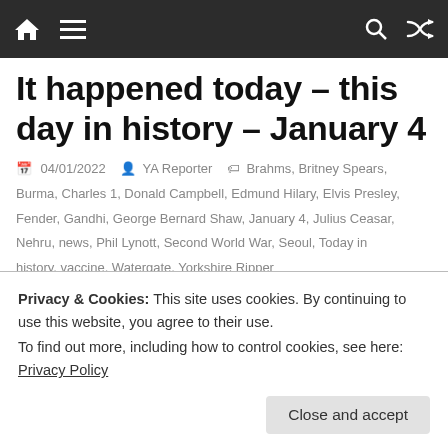Navigation bar with home, menu, search, and shuffle icons
It happened today – this day in history – January 4
04/01/2022  YA Reporter  Brahms, Britney Spears, Burma, Charles 1, Donald Campbell, Edmund Hilary, Elvis Presley, Fender, Gandhi, George Bernard Shaw, January 4, Julius Ceasar, Nehru, news, Phil Lynott, Second World War, Seoul, Today in history, vaccine, Watergate, Yorkshire Ripper
46BC: Julius Ceasar defeats Titus Labienus in the Battle of Ruspina. 87: Ethelred of Wessex is defeated by the
Privacy & Cookies: This site uses cookies. By continuing to use this website, you agree to their use.
To find out more, including how to control cookies, see here: Privacy Policy
Close and accept